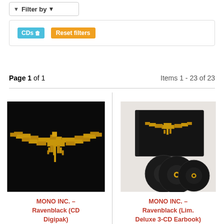Filter by ▼
CDs ✕  Reset filters
Page 1 of 1    Items 1 - 23 of 23
[Figure (photo): MONO INC. Ravenblack CD Digipak album cover — gold pixelated bird/raven on black background]
MONO INC. – Ravenblack (CD Digipak)
[Figure (photo): MONO INC. Ravenblack Limited Deluxe 3-CD Earbook — hardcover book with gold raven logo plus three black CDs]
MONO INC. – Ravenblack (Lim. Deluxe 3-CD Earbook)